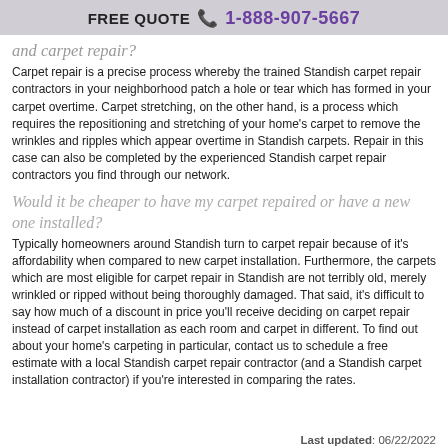FREE QUOTE 📞 1-888-907-5667
and carpet repair?
Carpet repair is a precise process whereby the trained Standish carpet repair contractors in your neighborhood patch a hole or tear which has formed in your carpet overtime. Carpet stretching, on the other hand, is a process which requires the repositioning and stretching of your home's carpet to remove the wrinkles and ripples which appear overtime in Standish carpets. Repair in this case can also be completed by the experienced Standish carpet repair contractors you find through our network.
Would it be cheaper to have my carpet repaired or have a new one installed?
Typically homeowners around Standish turn to carpet repair because of it's affordability when compared to new carpet installation. Furthermore, the carpets which are most eligible for carpet repair in Standish are not terribly old, merely wrinkled or ripped without being thoroughly damaged. That said, it's difficult to say how much of a discount in price you'll receive deciding on carpet repair instead of carpet installation as each room and carpet in different. To find out about your home's carpeting in particular, contact us to schedule a free estimate with a local Standish carpet repair contractor (and a Standish carpet installation contractor) if you're interested in comparing the rates.
Last updated: 06/22/2022